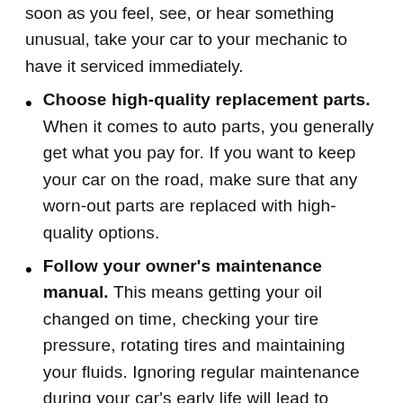soon as you feel, see, or hear something unusual, take your car to your mechanic to have it serviced immediately.
Choose high-quality replacement parts. When it comes to auto parts, you generally get what you pay for. If you want to keep your car on the road, make sure that any worn-out parts are replaced with high-quality options.
Follow your owner's maintenance manual. This means getting your oil changed on time, checking your tire pressure, rotating tires and maintaining your fluids. Ignoring regular maintenance during your car's early life will lead to larger problems down the road.
Keep it clean. Aside from scrubbing away bugs and grime, cleaning your car can help prevent